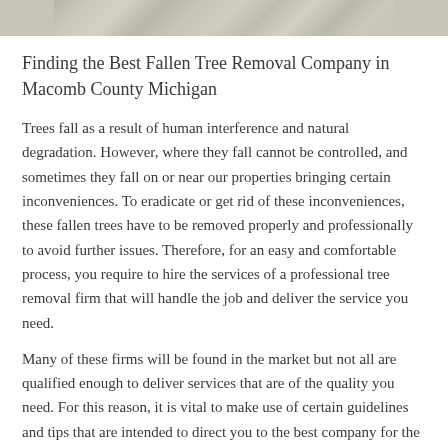[Figure (photo): Partial view of a fallen or removed tree, showing bark and texture, cropped strip at the top of the page.]
Finding the Best Fallen Tree Removal Company in Macomb County Michigan
Trees fall as a result of human interference and natural degradation. However, where they fall cannot be controlled, and sometimes they fall on or near our properties bringing certain inconveniences. To eradicate or get rid of these inconveniences, these fallen trees have to be removed properly and professionally to avoid further issues. Therefore, for an easy and comfortable process, you require to hire the services of a professional tree removal firm that will handle the job and deliver the service you need.
Many of these firms will be found in the market but not all are qualified enough to deliver services that are of the quality you need. For this reason, it is vital to make use of certain guidelines and tips that are intended to direct you to the best company for the job. The internet seems like a reliable option that most people run to but it can also be